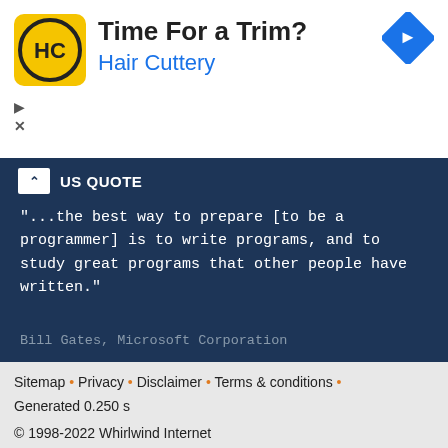[Figure (illustration): Hair Cuttery advertisement banner with logo (HC in circle), title 'Time For a Trim?', subtitle 'Hair Cuttery', blue diamond arrow icon top right, play and close controls bottom left]
US QUOTE
"...the best way to prepare [to be a programmer] is to write programs, and to study great programs that other people have written."
Bill Gates, Microsoft Corporation
FOLLOW US
[Figure (illustration): Facebook and Twitter social media icon buttons, pixel art game scene with door, character, and shelves]
Sitemap • Privacy • Disclaimer • Terms & conditions • Generated 0.250 s
© 1998-2022 Whirlwind Internet